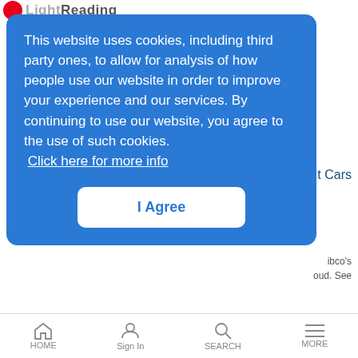Light Reading
This website uses cookies, including third party ones, to allow for analysis of how people use our website in order to improve your experience and our services. By continuing to use our website, you agree to the use of such cookies.
Click here for more info
I Agree
Telstra TV Goes Hybrid with New Roku-Powered 4K HDR Service
How United Airlines Uses Data to Take Pain out of Flight Delays
Wagner's Ring | 10/27/2017
United needed to integrate eight or nine different, and sometimes
HOME | Sign In | SEARCH | MORE